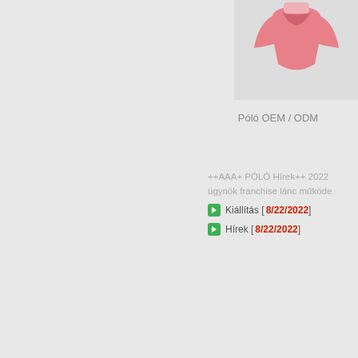[Figure (photo): Pink polo shirt product photo, partially visible in top-right corner]
Póló OEM / ODM
++AAA+ PÓLÓ Hírek++ 2022 ügynök franchise lánc működe
Kiállítás [8/22/2022]
Hírek [8/22/2022]